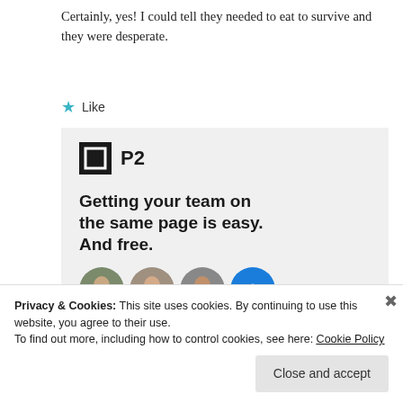Certainly, yes! I could tell they needed to eat to survive and they were desperate.
★ Like
[Figure (infographic): P2 advertisement banner with logo, headline 'Getting your team on the same page is easy. And free.', and user avatar images]
Privacy & Cookies: This site uses cookies. By continuing to use this website, you agree to their use.
To find out more, including how to control cookies, see here: Cookie Policy
Close and accept